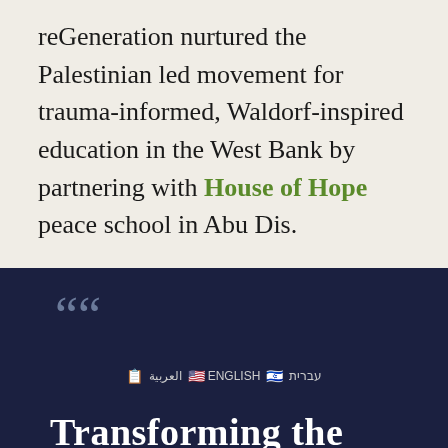reGeneration nurtured the Palestinian led movement for trauma-informed, Waldorf-inspired education in the West Bank by partnering with House of Hope peace school in Abu Dis.
“Transforming the
© العربية   ENGLISH   עברית